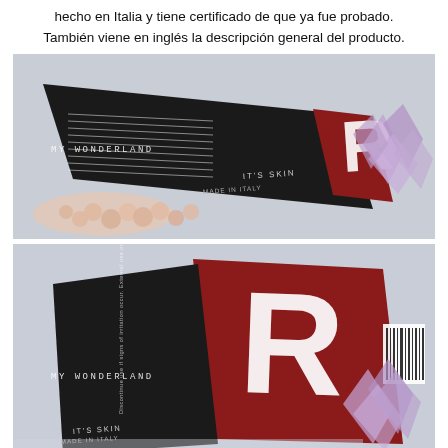hecho en Italia y tiene certificado de que ya fue probado. También viene en inglés la descripción general del producto.
[Figure (photo): Close-up photo of an It's Skin mascara box lying on its side, black box with small text and a red end panel showing 'R' logo, surrounded by pearl beads and purple crystals. Watermark 'MY WONDERLAND' visible.]
[Figure (photo): Close-up photo of the It's Skin mascara box end and side showing the red panel with large 'R' logo, barcode, and 'MADE IN ITALY IT'S SKIN' text on black background with Korean text, on a light surface with purple crystals. Watermark 'MY WONDERLAND' visible.]